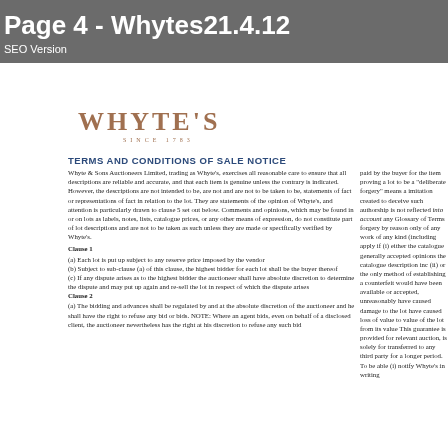Page 4 - Whytes21.4.12
SEO Version
[Figure (logo): Whyte's auction house logo with text 'WHYTE'S' and 'SINCE 1783']
TERMS AND CONDITIONS OF SALE NOTICE
Whyte & Sons Auctioneers Limited, trading as Whyte's, exercises all reasonable care to ensure that all descriptions are reliable and accurate, and that each item is genuine unless the contrary is indicated. However, the descriptions are not intended to be, are not and are not to be taken to be, statements of fact or representations of fact in relation to the lot. They are statements of the opinion of Whyte's, and attention is particularly drawn to clause 5 set out below. Comments and opinions, which may be found in or on lots as labels, notes, lists, catalogue prices, or any other means of expression, do not constitute part of lot descriptions and are not to be taken as such unless they are made or specifically verified by Whyte's.
Clause 1
(a) Each lot is put up subject to any reserve price imposed by the vendor
(b) Subject to sub-clause (a) of this clause, the highest bidder for each lot shall be the buyer thereof
(c) If any dispute arises as to the highest bidder the auctioneer shall have absolute discretion to determine the dispute and may put up again and re-sell the lot in respect of which the dispute arises
Clause 2
(a) The bidding and advances shall be regulated by and at the absolute discretion of the auctioneer and he shall have the right to refuse any bid or bids. NOTE: Where an agent bids, even on behalf of a disclosed client, the auctioneer nevertheless has the right at his discretion to refuse any such bid
paid by the buyer for the item proving a lot to be a "deliberate forgery" means a imitation created to deceive such authorship is not reflected into account any Glossary of Terms forgery by reason only of any work of any kind (including apply if (i) either the catalogue generally accepted opinions the catalogue description inc (ii) or the only method of establishing a counterfeit would have been available or accepted, unreasonably have caused damage to the lot have caused loss of value to value of the lot from its value This guarantee is provided for relevant auction, is solely for transferred to any third party for a longer period. To be able (i) notify Whyte's in writing